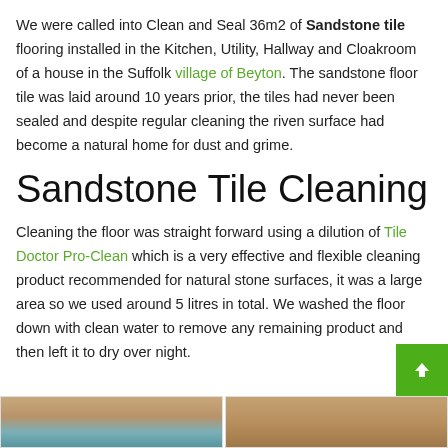We were called into Clean and Seal 36m2 of Sandstone tile flooring installed in the Kitchen, Utility, Hallway and Cloakroom of a house in the Suffolk village of Beyton. The sandstone floor tile was laid around 10 years prior, the tiles had never been sealed and despite regular cleaning the riven surface had become a natural home for dust and grime.
Sandstone Tile Cleaning
Cleaning the floor was straight forward using a dilution of Tile Doctor Pro-Clean which is a very effective and flexible cleaning product recommended for natural stone surfaces, it was a large area so we used around 5 litres in total. We washed the floor down with clean water to remove any remaining product and then left it to dry over night.
[Figure (photo): Two thumbnail images side by side at the bottom of the page, partially visible. Left thumbnail shows sandstone tiles with blue/teal and brownish tones. Right thumbnail shows sandstone tile flooring in brownish/tan tones.]